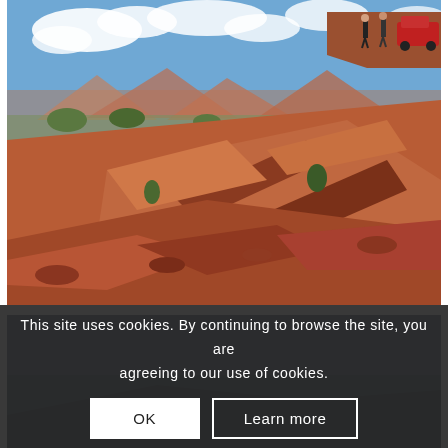[Figure (photo): Outdoor photo of red rock canyon landscape (similar to Utah/Southwest USA). Red sandstone rock formations in foreground and middle ground, scrubby desert vegetation, distant red mesas and mountains, blue sky with white clouds. Two people and a red vehicle visible at the top of a rocky cliff on the upper right.]
This site uses cookies. By continuing to browse the site, you are agreeing to our use of cookies.
OK
Learn more